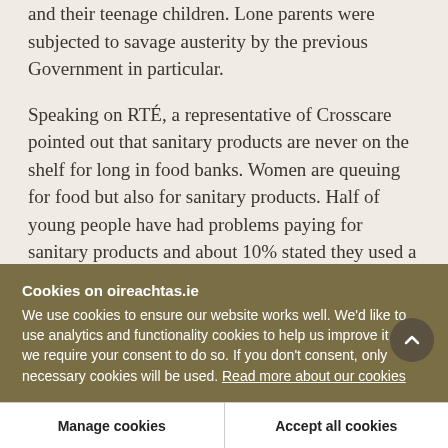and their teenage children. Lone parents were subjected to savage austerity by the previous Government in particular.
Speaking on RTÉ, a representative of Crosscare pointed out that sanitary products are never on the shelf for long in food banks. Women are queuing for food but also for sanitary products. Half of young people have had problems paying for sanitary products and about 10% stated they used a less suitable product. Constituents of the former Minister
Cookies on oireachtas.ie
We use cookies to ensure our website works well. We'd like to use analytics and functionality cookies to help us improve it but we require your consent to do so. If you don't consent, only necessary cookies will be used. Read more about our cookies
Manage cookies
Accept all cookies